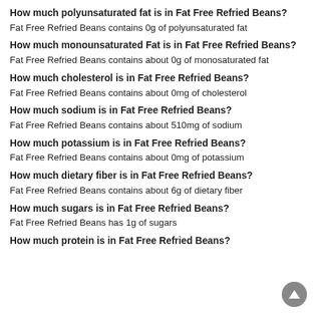How much polyunsaturated fat is in Fat Free Refried Beans?
Fat Free Refried Beans contains 0g of polyunsaturated fat
How much monounsaturated Fat is in Fat Free Refried Beans?
Fat Free Refried Beans contains about 0g of monosaturated fat
How much cholesterol is in Fat Free Refried Beans?
Fat Free Refried Beans contains about 0mg of cholesterol
How much sodium is in Fat Free Refried Beans?
Fat Free Refried Beans contains about 510mg of sodium
How much potassium is in Fat Free Refried Beans?
Fat Free Refried Beans contains about 0mg of potassium
How much dietary fiber is in Fat Free Refried Beans?
Fat Free Refried Beans contains about 6g of dietary fiber
How much sugars is in Fat Free Refried Beans?
Fat Free Refried Beans has 1g of sugars
How much protein is in Fat Free Refried Beans?